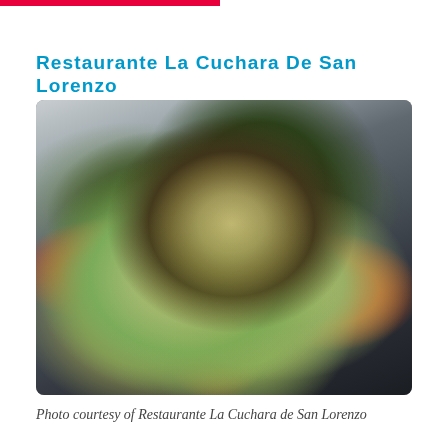Restaurante La Cuchara De San Lorenzo
[Figure (photo): Fine dining dish: seared fish or meat served on a bed of green risotto on a dark slate plate, garnished with micro greens, mushrooms, and orange sauce dots]
Photo courtesy of Restaurante La Cuchara de San Lorenzo